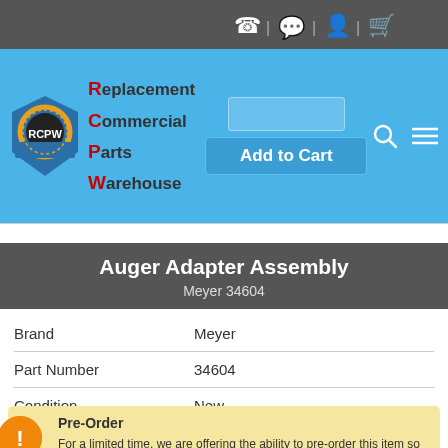[Figure (logo): RCPW (Replacement Commercial Parts Warehouse) logo with blue header navigation bar showing brand name and icons for phone, chat, account, cart, search, and menu]
Auger Adapter Assembly
Meyer 34604
|  |  |
| --- | --- |
| Brand | Meyer |
| Part Number | 34604 |
| Condition | New |
Pre-Order
For a limited time, we are offering the ability to pre-order this item so it will ship to you as soon as more stock becomes available. By ordering this item, you agree that it will not ship until more product is delivered from the manufacturer. Please note that due to current supply chain issues, the lead time for this item is approximately 10-30 days.